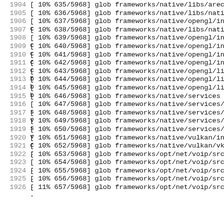1904   [ 10%  635/5968] glob frameworks/native/libs/arec
1905   [ 10%  636/5968] glob frameworks/native/libs/nati
1906   [ 10%  637/5968] glob frameworks/native/opengl/inc
1907   [ 10%  638/5968] glob frameworks/native/libs/nati
1908   [ 10%  639/5968] glob frameworks/native/opengl/inc
1909   [ 10%  640/5968] glob frameworks/native/opengl/inc
1910   [ 10%  641/5968] glob frameworks/native/opengl/inc
1911   [ 10%  642/5968] glob frameworks/native/opengl/inc
1912   [ 10%  643/5968] glob frameworks/native/opengl/lib
1913   [ 10%  644/5968] glob frameworks/native/opengl/lib
1914   [ 10%  645/5968] glob frameworks/native/opengl/lib
1915   [ 10%  646/5968] glob frameworks/native/services
1916   [ 10%  647/5968] glob frameworks/native/services/s
1917   [ 10%  648/5968] glob frameworks/native/services/v
1918   [ 10%  649/5968] glob frameworks/native/services/s
1919   [ 10%  650/5968] glob frameworks/native/services/v
1920   [ 10%  651/5968] glob frameworks/native/vulkan/inc
1921   [ 10%  652/5968] glob frameworks/native/vulkan/vk;
1922   [ 10%  653/5968] glob frameworks/opt/net/voip/src
1923   [ 10%  654/5968] glob frameworks/opt/net/voip/src.
1924   [ 10%  655/5968] glob frameworks/opt/net/voip/src.
1925   [ 10%  656/5968] glob frameworks/opt/net/voip/src.
1926   [ 11%  657/5968] glob frameworks/opt/net/voip/src.